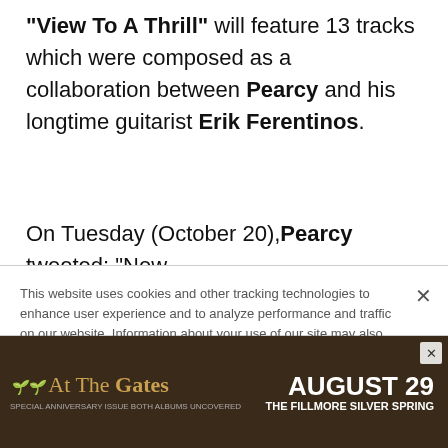"View To A Thrill" will feature 13 tracks which were composed as a collaboration between Pearcy and his longtime guitarist Erik Ferentinos.
On Tuesday (October 20),Pearcy tweeted: "New
This website uses cookies and other tracking technologies to enhance user experience and to analyze performance and traffic on our website. Information about your use of our site may also be shared with social media, advertising, retail and analytics providers and partners. Privacy Policy
[Figure (screenshot): Advertisement banner for 'At The Gates' concert at The Fillmore Silver Spring, August 29, with dark brown background and golden text.]